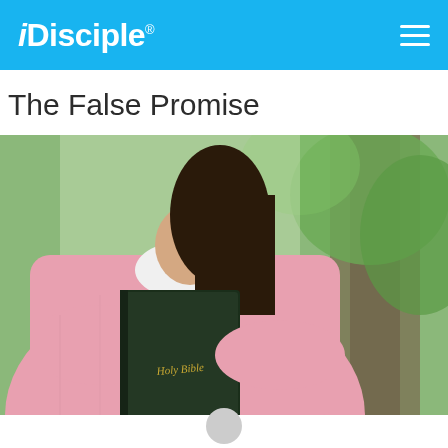iDisciple
The False Promise
[Figure (photo): A person wearing a pink sweater holding a dark green Holy Bible against their chest, standing outdoors near a tree with green foliage in the background.]